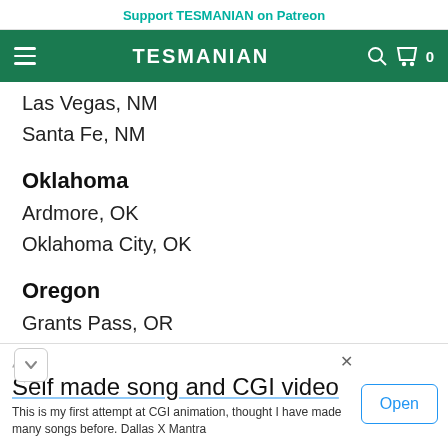Support TESMANIAN on Patreon
TESMANIAN
Las Vegas, NM
Santa Fe, NM
Oklahoma
Ardmore, OK
Oklahoma City, OK
Oregon
Grants Pass, OR
Medford, OR
Myrtle Creek, OR
rfield, OR - Kruse Way
[Figure (screenshot): Advertisement overlay: 'Self made song and CGI video' with Open button]
Self made song and CGI video
This is my first attempt at CGI animation, thought I have made many songs before. Dallas X Mantra